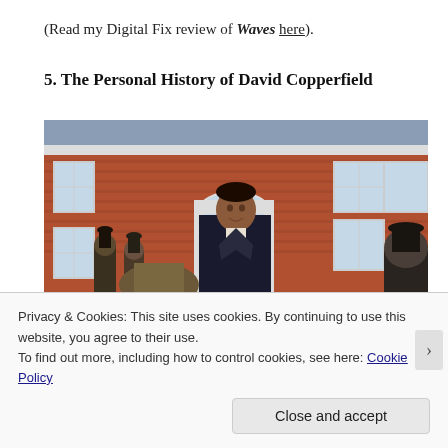(Read my Digital Fix review of Waves here).
5. The Personal History of David Copperfield
[Figure (photo): A man in Victorian-era dark coat stands in front of a red brick building with white-trimmed windows and a fanlight door. Several people in top hats are visible in the background.]
Privacy & Cookies: This site uses cookies. By continuing to use this website, you agree to their use.
To find out more, including how to control cookies, see here: Cookie Policy
Close and accept